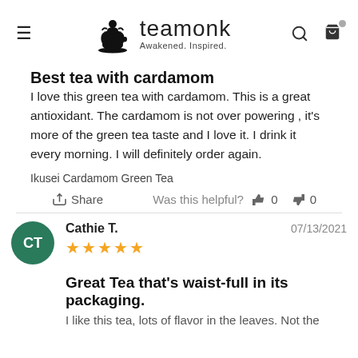Teamonk — Awakened. Inspired.
Best tea with cardamom
I love this green tea with cardamom. This is a great antioxidant. The cardamom is not over powering , it's more of the green tea taste and I love it. I drink it every morning. I will definitely order again.
Ikusei Cardamom Green Tea
Share    Was this helpful?  👍 0  👎 0
Cathie T.   07/13/2021  ★★★★★
Great Tea that's waist-full in its packaging.
I like this tea, lots of flavor in the leaves. Not the